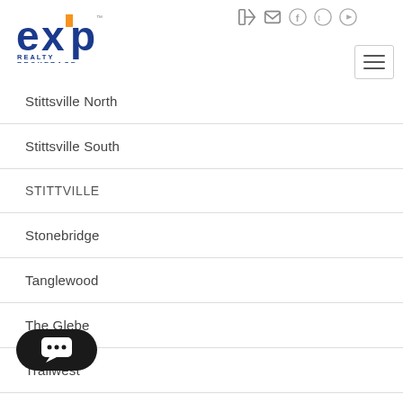[Figure (logo): eXp Realty Brokerage logo]
Stittsville North
Stittsville South
STITTVILLE
Stonebridge
Tanglewood
The Glebe
Trailwest